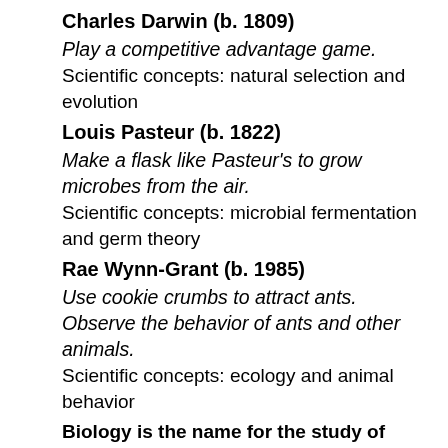Charles Darwin (b. 1809)
Play a competitive advantage game.
Scientific concepts: natural selection and evolution
Louis Pasteur (b. 1822)
Make a flask like Pasteur's to grow microbes from the air.
Scientific concepts: microbial fermentation and germ theory
Rae Wynn-Grant (b. 1985)
Use cookie crumbs to attract ants. Observe the behavior of ants and other animals.
Scientific concepts: ecology and animal behavior
Biology is the name for the study of living organisms, but long before the word biologist was coined, people around the world realized that by studying the world around them, they could improve their lives. Learning about plants and insects helped them discover new medicines